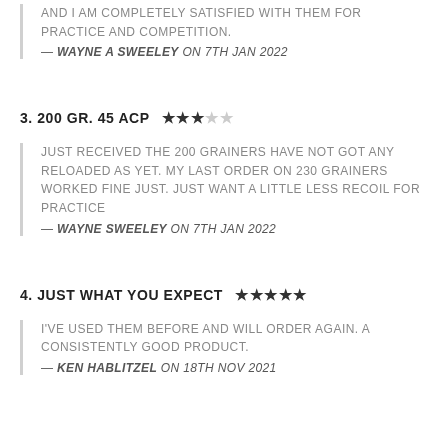AND I AM COMPLETELY SATISFIED WITH THEM FOR PRACTICE AND COMPETITION.
— WAYNE A SWEELEY ON 7TH JAN 2022
3. 200 GR. 45 ACP ★★★☆☆
JUST RECEIVED THE 200 GRAINERS HAVE NOT GOT ANY RELOADED AS YET. MY LAST ORDER ON 230 GRAINERS WORKED FINE JUST. JUST WANT A LITTLE LESS RECOIL FOR PRACTICE
— WAYNE SWEELEY ON 7TH JAN 2022
4. JUST WHAT YOU EXPECT ★★★★★
I'VE USED THEM BEFORE AND WILL ORDER AGAIN. A CONSISTENTLY GOOD PRODUCT.
— KEN HABLITZEL ON 18TH NOV 2021